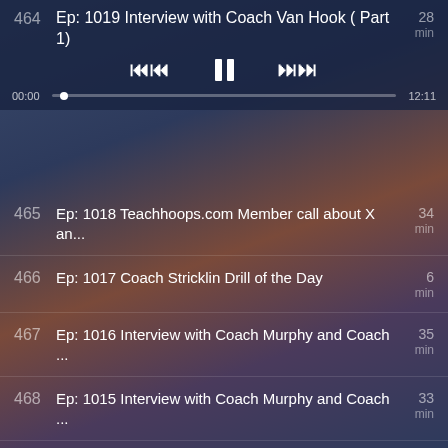464  Ep: 1019 Interview with Coach Van Hook ( Part 1)  28 min
465  Ep: 1018 Teachhoops.com Member call about X an...  34 min
466  Ep: 1017 Coach Stricklin Drill of the Day  6 min
467  Ep: 1016 Interview with Coach Murphy and Coach ...  35 min
468  Ep: 1015 Interview with Coach Murphy and Coach ...  33 min
469  Ep: 1014 Coaching Call with a Teachhoops.com m...  14 min
470  Ep: 1013 Interview with Coach Cannon (Part 3)  26 min